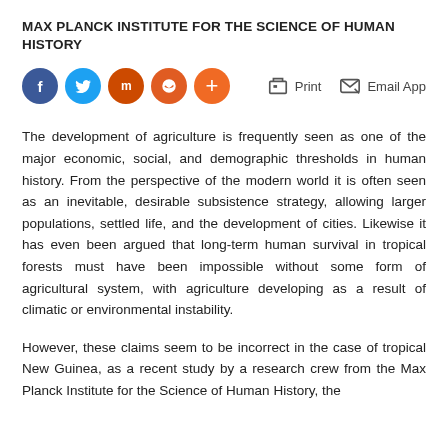MAX PLANCK INSTITUTE FOR THE SCIENCE OF HUMAN HISTORY
[Figure (infographic): Social sharing buttons: Facebook (blue), Twitter (blue), Mix (dark orange), Reddit (orange), Plus (orange); Print and Email App action icons on the right]
The development of agriculture is frequently seen as one of the major economic, social, and demographic thresholds in human history. From the perspective of the modern world it is often seen as an inevitable, desirable subsistence strategy, allowing larger populations, settled life, and the development of cities. Likewise it has even been argued that long-term human survival in tropical forests must have been impossible without some form of agricultural system, with agriculture developing as a result of climatic or environmental instability.
However, these claims seem to be incorrect in the case of tropical New Guinea, as a recent study by a research crew from the Max Planck Institute for the Science of Human History, the